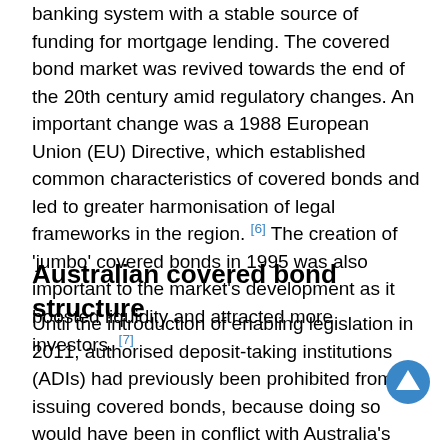banking system with a stable source of funding for mortgage lending. The covered bond market was revived towards the end of the 20th century amid regulatory changes. An important change was a 1988 European Union (EU) Directive, which established common characteristics of covered bonds and led to greater harmonisation of legal frameworks in the region. [6] The creation of 'jumbo' covered bonds in 1995 was also important to the market's development as it boosted liquidity and attracted more investors. [7]
Australian covered bond structure
Until the introduction of enabling legislation in 2011, authorised deposit-taking institutions (ADIs) had previously been prohibited from issuing covered bonds, because doing so would have been in conflict with Australia's depositor preference regime. [8] Under the Banking Act 1959, depositors are given priority of the...